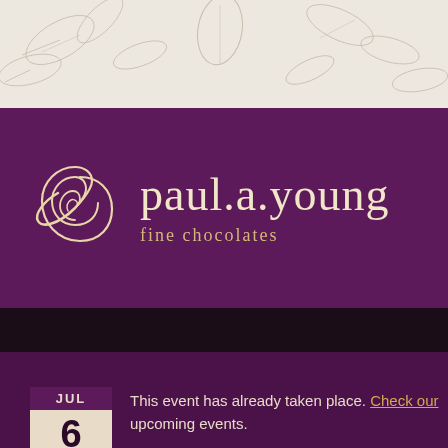[Figure (illustration): Top banner with cream/beige background featuring decorative botanical illustration of cocoa leaves and pods in light gray/taupe tones]
[Figure (logo): paul.a.young fine chocolates logo on deep purple background. Spiral swirl icon in gold/cream to the left of the brand name text in light cream color, with 'fine chocolates' tagline in gold below]
[Figure (other): Dark navigation bar with small gold dot separators]
This event has already taken place. Check our upcoming events.